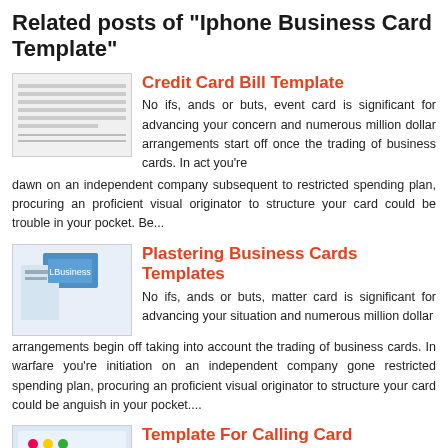Related posts of "Iphone Business Card Template"
Credit Card Bill Template
No ifs, ands or buts, event card is significant for advancing your concern and numerous million dollar arrangements start off once the trading of business cards. In act you're dawn on an independent company subsequent to restricted spending plan, procuring an proficient visual originator to structure your card could be trouble in your pocket. Be...
Plastering Business Cards Templates
No ifs, ands or buts, matter card is significant for advancing your situation and numerous million dollar arrangements begin off taking into account the trading of business cards. In warfare you're initiation on an independent company gone restricted spending plan, procuring an proficient visual originator to structure your card could be anguish in your pocket....
Template For Calling Card
No ifs, ands or buts, matter card is significant for